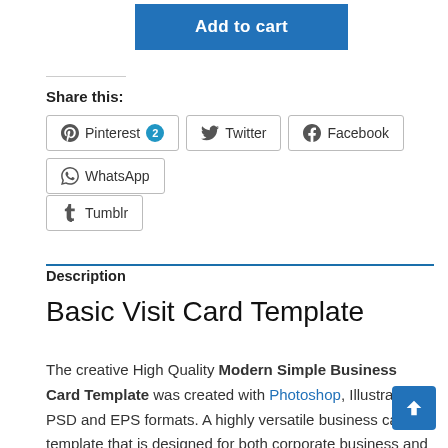Add to cart
Share this:
Pinterest 2  Twitter  Facebook  WhatsApp  Tumblr
Description
Basic Visit Card Template
The creative High Quality Modern Simple Business Card Template was created with Photoshop, Illustrator in PSD and EPS formats. A highly versatile business card template that is designed for both corporate business and personal usage.
Photography Business Card, Spa Business Card, Fitness Business Card, Car Dealer Business Card, Fast Food Business Card, Real